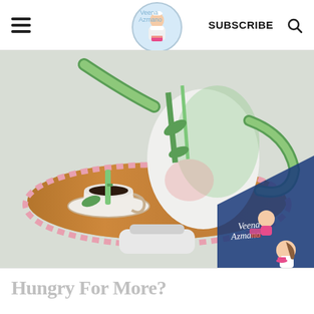Veena Azmanov - SUBSCRIBE [search icon]
[Figure (photo): A decorative cake sculpted to resemble a teapot with green bamboo and leaf detailing, a matching teacup on a saucer placed on a wooden cake stand with a pink lace edge, all on a white pedestal stand. A blue diagonal watermark with 'Veena Azmano' branding and logo figure is visible in the bottom right.]
Hungry For More?